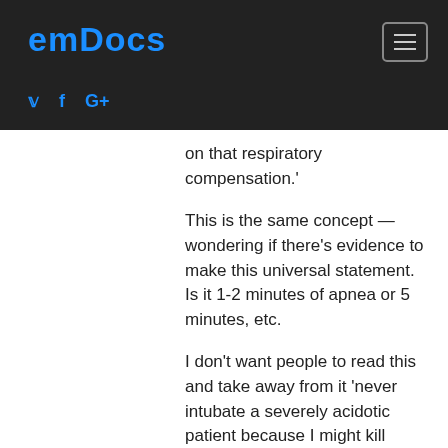emDocs
on that respiratory compensation.'
This is the same concept — wondering if there's evidence to make this universal statement. Is it 1-2 minutes of apnea or 5 minutes, etc.
I don't want people to read this and take away from it 'never intubate a severely acidotic patient because I might kill them' because not intubating that same patient can cause